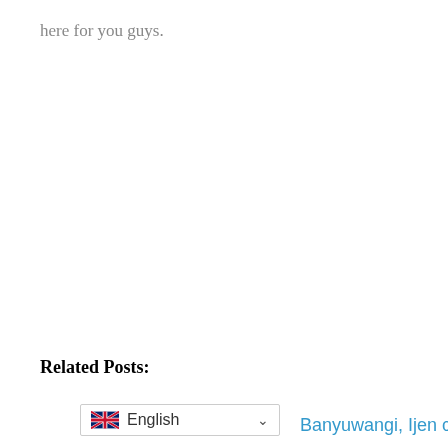here for you guys.
Related Posts:
English
Banyuwangi, Ijen crater tour